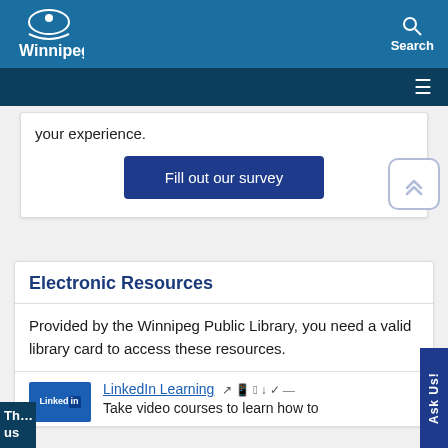Winnipeg — Search
your experience.
Fill out our survey
Electronic Resources
Provided by the Winnipeg Public Library, you need a valid library card to access these resources.
LinkedIn Learning — Take video courses to learn how to